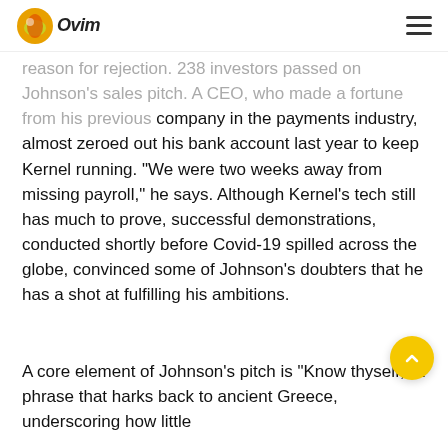Ovim [logo] [hamburger menu]
reason for rejection. 238 investors passed on Johnson's sales pitch. A CEO, who made a fortune from his previous company in the payments industry, almost zeroed out his bank account last year to keep Kernel running. “We were two weeks away from missing payroll,” he says. Although Kernel’s tech still has much to prove, successful demonstrations, conducted shortly before Covid-19 spilled across the globe, convinced some of Johnson’s doubters that he has a shot at fulfilling his ambitions.
A core element of Johnson’s pitch is “Know thyself,” a phrase that harks back to ancient Greece, underscoring how little